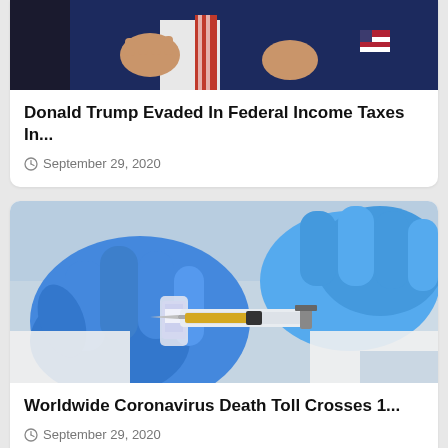[Figure (photo): Partial photo of Donald Trump in a suit with American flag pin, gesturing with hands]
Donald Trump Evaded In Federal Income Taxes In...
September 29, 2020
[Figure (photo): Medical professional in blue gloves handling a syringe and vaccine vial]
Worldwide Coronavirus Death Toll Crosses 1...
September 29, 2020
[Figure (photo): Partial image at bottom of page, cropped]